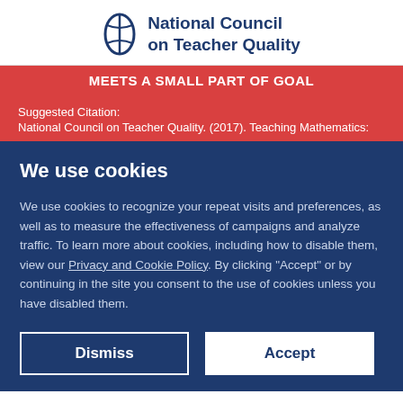National Council on Teacher Quality
MEETS A SMALL PART OF GOAL
Suggested Citation:
National Council on Teacher Quality. (2017). Teaching Mathematics:
We use cookies
We use cookies to recognize your repeat visits and preferences, as well as to measure the effectiveness of campaigns and analyze traffic. To learn more about cookies, including how to disable them, view our Privacy and Cookie Policy. By clicking "Accept" or by continuing in the site you consent to the use of cookies unless you have disabled them.
Dismiss
Accept